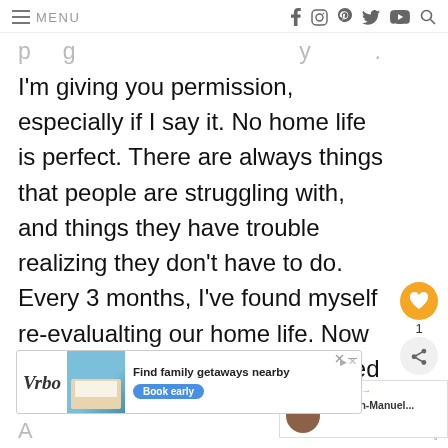≡ MENU  f  instagram  pinterest  twitter  youtube  search
I'm giving you permission, especially if I say it. No home life is perfect. There are always things that people are struggling with, and things they have trouble realizing they don't have to do. Every 3 months, I've found myself re-evalualting our home life. Now that we own our first home, I need to be more disciplined about this. There's s[omething] to do, and I don't have time for it all.
[Figure (other): Advertisement banner for Vrbo showing vacation home photo with 'Find family getaways nearby' text and 'Book early' button]
A [partial text cut off]